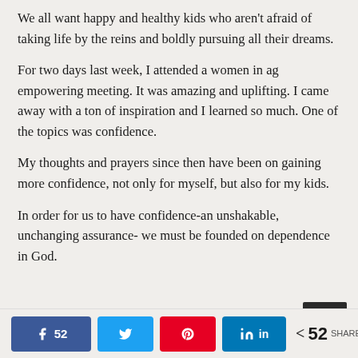We all want happy and healthy kids who aren't afraid of taking life by the reins and boldly pursuing all their dreams.
For two days last week, I attended a women in ag empowering meeting. It was amazing and uplifting. I came away with a ton of inspiration and I learned so much. One of the topics was confidence.
My thoughts and prayers since then have been on gaining more confidence, not only for myself, but also for my kids.
In order for us to have confidence-an unshakable, unchanging assurance- we must be founded on dependence in God.
Share buttons: Facebook 52, Twitter, Pinterest, LinkedIn | 52 SHARES